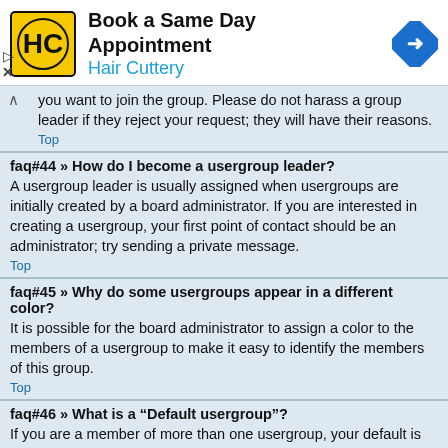[Figure (screenshot): Hair Cuttery advertisement banner with logo and navigation arrow icon. Text: 'Book a Same Day Appointment' and 'Hair Cuttery']
you want to join the group. Please do not harass a group leader if they reject your request; they will have their reasons.
Top
faq#44 » How do I become a usergroup leader?
A usergroup leader is usually assigned when usergroups are initially created by a board administrator. If you are interested in creating a usergroup, your first point of contact should be an administrator; try sending a private message.
Top
faq#45 » Why do some usergroups appear in a different color?
It is possible for the board administrator to assign a color to the members of a usergroup to make it easy to identify the members of this group.
Top
faq#46 » What is a “Default usergroup”?
If you are a member of more than one usergroup, your default is used to determine which group color and group rank should be